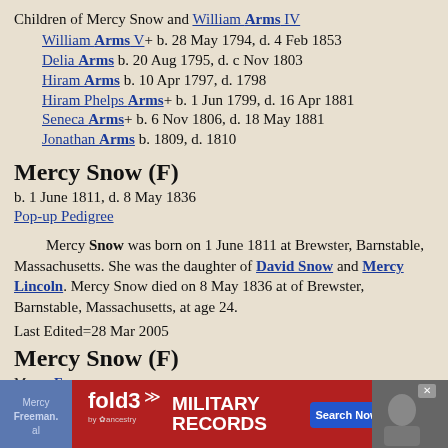Children of Mercy Snow and William Arms IV
William Arms V+ b. 28 May 1794, d. 4 Feb 1853
Delia Arms b. 20 Aug 1795, d. c Nov 1803
Hiram Arms b. 10 Apr 1797, d. 1798
Hiram Phelps Arms+ b. 1 Jun 1799, d. 16 Apr 1881
Seneca Arms+ b. 6 Nov 1806, d. 18 May 1881
Jonathan Arms b. 1809, d. 1810
Mercy Snow (F)
b. 1 June 1811, d. 8 May 1836
Pop-up Pedigree
Mercy Snow was born on 1 June 1811 at Brewster, Barnstable, Massachusetts. She was the daughter of David Snow and Mercy Lincoln. Mercy Snow died on 8 May 1836 at of Brewster, Barnstable, Massachusetts, at age 24.
Last Edited=28 Mar 2005
Mercy Snow (F)
Mercy ... Freeman. ... Massachusetts...
[Figure (screenshot): Advertisement banner for fold3 Military Records with Search Now button]